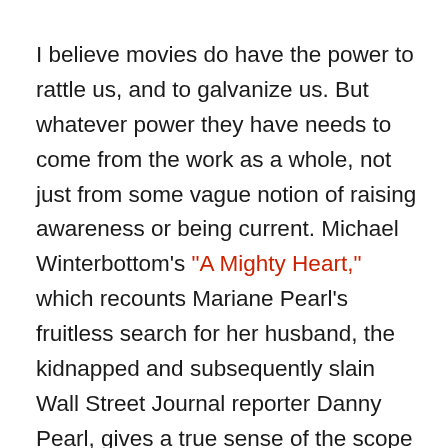I believe movies do have the power to rattle us, and to galvanize us. But whatever power they have needs to come from the work as a whole, not just from some vague notion of raising awareness or being current. Michael Winterbottom's "A Mighty Heart," which recounts Mariane Pearl's fruitless search for her husband, the kidnapped and subsequently slain Wall Street Journal reporter Danny Pearl, gives a true sense of the scope of our problems in the Middle East by refusing to organize them into tidy little boxes of plotting. And of the more recent Iraq-war-related movies I've seen, Brian De Palma's upcoming "Redacted" -- brutal, unsettling, almost stubbornly